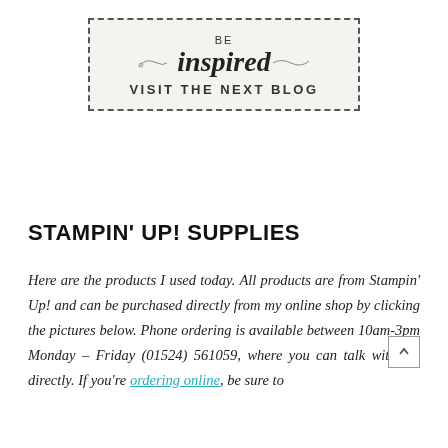[Figure (illustration): A dashed-border rectangular banner with a textured light background. Inside: small text 'BE' in uppercase, then a decorative script/italic bold word 'inspired' with swash lines on either side, then 'VISIT THE NEXT BLOG' in uppercase bold.]
STAMPIN' UP! SUPPLIES
Here are the products I used today. All products are from Stampin' Up! and can be purchased directly from my online shop by clicking the pictures below. Phone ordering is available between 10am-3pm Monday – Friday (01524) 561059, where you can talk with me directly. If you're ordering online, be sure to